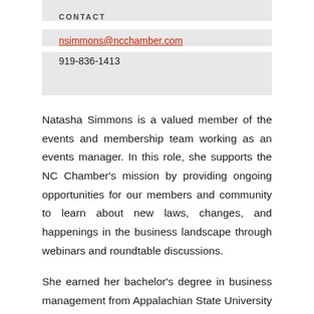CONTACT
nsimmons@ncchamber.com
919-836-1413
Natasha Simmons is a valued member of the events and membership team working as an events manager. In this role, she supports the NC Chamber's mission by providing ongoing opportunities for our members and community to learn about new laws, changes, and happenings in the business landscape through webinars and roundtable discussions.
She earned her bachelor's degree in business management from Appalachian State University and has